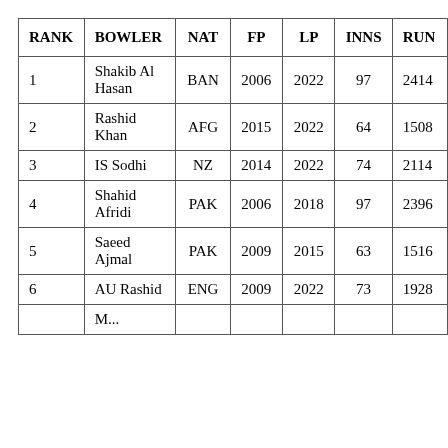| RANK | BOWLER | NAT | FP | LP | INNS | RUNS |
| --- | --- | --- | --- | --- | --- | --- |
| 1 | Shakib Al Hasan | BAN | 2006 | 2022 | 97 | 2414 |
| 2 | Rashid Khan | AFG | 2015 | 2022 | 64 | 1508 |
| 3 | IS Sodhi | NZ | 2014 | 2022 | 74 | 2114 |
| 4 | Shahid Afridi | PAK | 2006 | 2018 | 97 | 2396 |
| 5 | Saeed Ajmal | PAK | 2009 | 2015 | 63 | 1516 |
| 6 | AU Rashid | ENG | 2009 | 2022 | 73 | 1928 |
|  | M... |  |  |  |  |  |